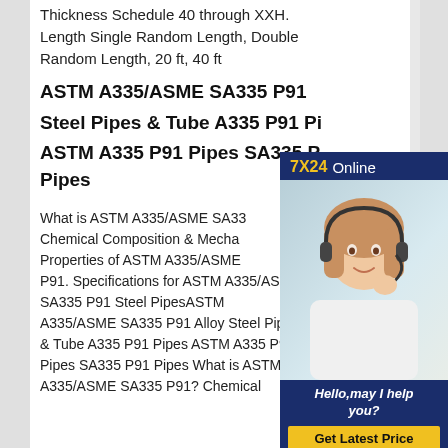Thickness Schedule 40 through XXH. Length Single Random Length, Double Random Length, 20 ft, 40 ft
ASTM A335/ASME SA335 P91
Steel Pipes & Tube A335 P91 Pi
ASTM A335 P91 Pipes SA335 P Pipes
[Figure (photo): Advertisement banner showing a customer service representative wearing a headset, with '7X24 Online' header, 'Hello,may I help you?' caption, and 'Get Latest Price' button on dark blue background]
What is ASTM A335/ASME SA33 Chemical Composition & Mecha Properties of ASTM A335/ASME P91. Specifications for ASTM A335/ASME SA335 P91 Steel PipesASTM A335/ASME SA335 P91 Alloy Steel Pipes & Tube A335 P91 Pipes ASTM A335 P91 Pipes SA335 P91 Pipes What is ASTM A335/ASME SA335 P91? Chemical